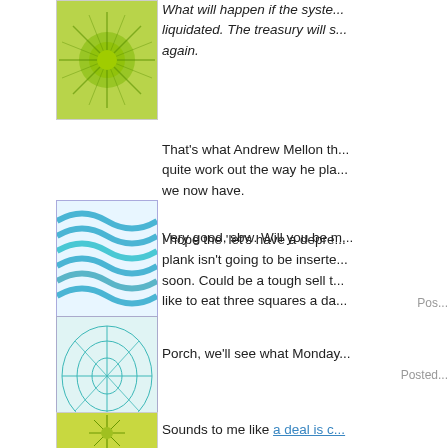[Figure (illustration): Green starburst/sunburst avatar icon]
What will happen if the system is liquidated. The treasury will s... again.
That's what Andrew Mellon th... quite work out the way he pla... we now have.
I hope the 'let's have a depre... plank isn't going to be inserte... soon. Could be a tough sell t... like to eat three squares a da...
Posted...
[Figure (illustration): Blue wavy lines avatar icon]
Very good, sbw. Will you be m...
Pos...
[Figure (illustration): Teal grid/radial avatar icon]
Porch, we'll see what Monday...
[Figure (illustration): Green sunburst avatar icon]
Sounds to me like a deal is c...